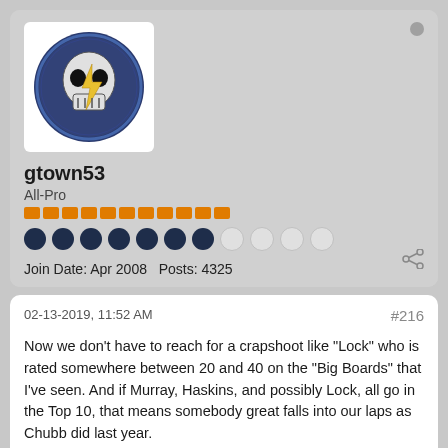[Figure (illustration): User avatar - circular Grateful Dead lightning skull logo on dark blue background, inside white square frame]
gtown53
All-Pro
[Figure (infographic): Orange reputation pips row - 11 orange bars]
[Figure (infographic): Activity dots row - 7 filled dark navy circles, 4 empty light circles]
Join Date: Apr 2008   Posts: 4325
02-13-2019, 11:52 AM
#216
Now we don't have to reach for a crapshoot like "Lock" who is rated somewhere between 20 and 40 on the "Big Boards" that I've seen. And if Murray, Haskins, and possibly Lock, all go in the Top 10, that means somebody great falls into our laps as Chubb did last year.

Looking good for the Draft in 3 months.
[Figure (logo): Denver Broncos logo on dark navy background, partial second post card at bottom]